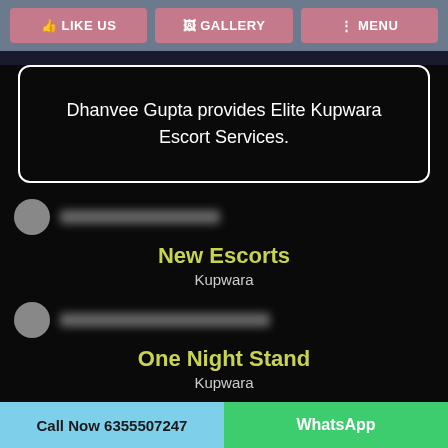LIKE US | GALLERY | MENU
Dhanvee Gupta provides Elite Kupwara Escort Services.
New Escorts
Kupwara
One Night Stand
Kupwara
Threesome
Call Now 6355507247 | WhatsApp